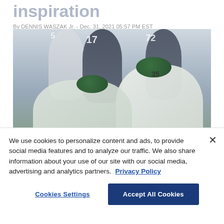inspiration
By DENNIS WASZAK Jr. - Dec. 31, 2021 05:57 PM EST
[Figure (photo): NFL football players on field, New York Jets players in white and green uniforms including #35, #17, #72 visible, players crouched in action during game]
We use cookies to personalize content and ads, to provide social media features and to analyze our traffic. We also share information about your use of our site with our social media, advertising and analytics partners. Privacy Policy
Cookies Settings | Accept All Cookies